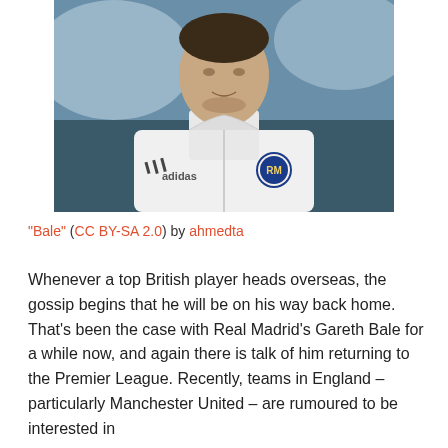[Figure (photo): A footballer wearing a white Real Madrid Adidas training jacket, shown from chest up, with a blurred stadium background.]
"Bale" (CC BY-SA 2.0) by ahmedta
Whenever a top British player heads overseas, the gossip begins that he will be on his way back home. That's been the case with Real Madrid's Gareth Bale for a while now, and again there is talk of him returning to the Premier League. Recently, teams in England – particularly Manchester United – are rumoured to be interested in